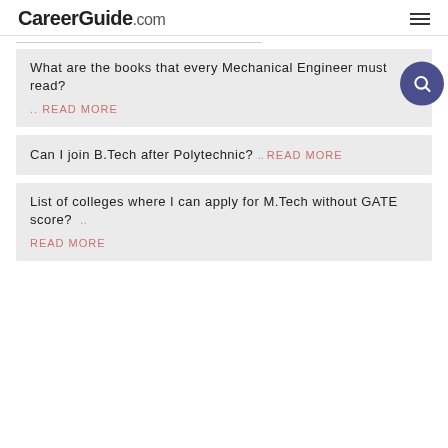CareerGuide.com
What are the books that every Mechanical Engineer must read? .. READ MORE
Can I join B.Tech after Polytechnic? .. READ MORE
List of colleges where I can apply for M.Tech without GATE score? .. READ MORE